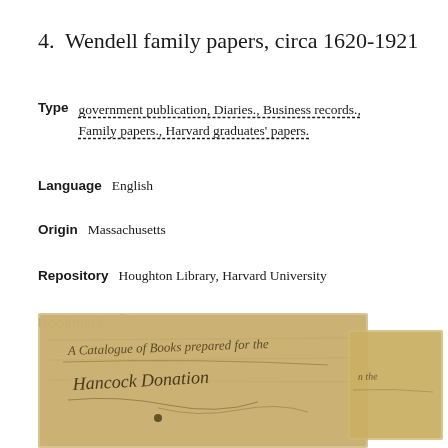4.  Wendell family papers, circa 1620-1921
Type   government publication, Diaries., Business records., Family papers., Harvard graduates' papers.
Language   English
Origin   Massachusetts
Repository   Houghton Library, Harvard University
Bookmark   ○
[Figure (photo): Historic handwritten document in cursive script reading 'A Catalogue of Books prepared for the Hancock Donation' with decorative calligraphy on aged paper, partially overlapping a second document.]